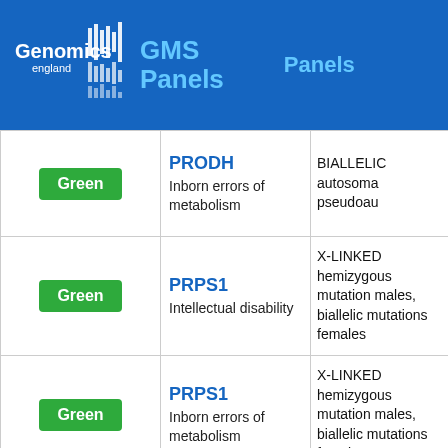Genomics England GMS Panels | Panels
| Status | Gene / Panel | Mode of Inheritance |
| --- | --- | --- |
| Green | PRODH
Inborn errors of metabolism | BIALLELIC autosomal or pseudoau... |
| Green | PRPS1
Intellectual disability | X-LINKED hemizygous mutation males, biallelic mutations females |
| Green | PRPS1
Inborn errors of metabolism | X-LINKED hemizygous mutation males, biallelic mutations females |